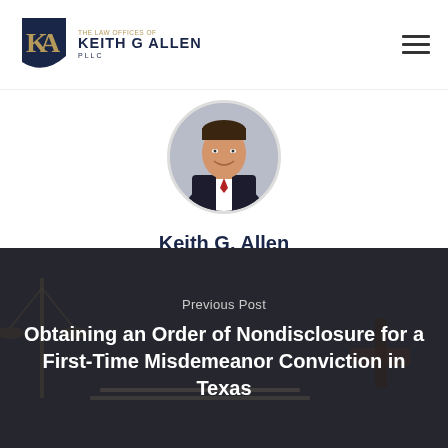[Figure (logo): The Law Offices of Keith G Allen PLLC logo with gold and navy shield monogram]
[Figure (photo): Circular headshot portrait of Keith G. Allen, a man in a dark suit with a red tie, smiling]
Keith G. Allen
[Figure (photo): Banner background image showing a lawyer at a desk with scales of justice and a gavel]
Previous Post
Obtaining an Order of Nondisclosure for a First-Time Misdemeanor Conviction in Texas